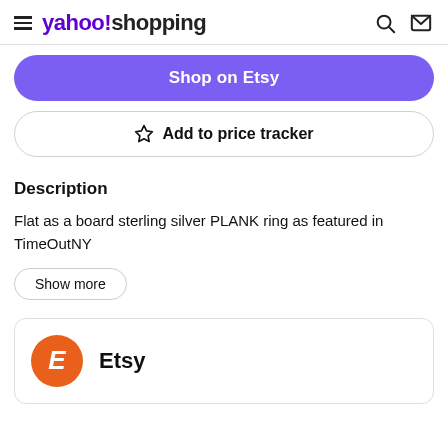yahoo!shopping
Shop on Etsy
☆ Add to price tracker
Description
Flat as a board sterling silver PLANK ring as featured in TimeOutNY
Show more
Etsy